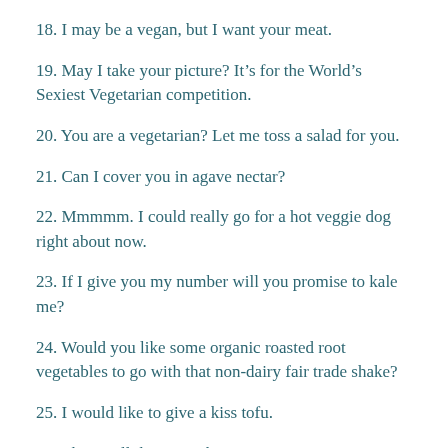18. I may be a vegan, but I want your meat.
19. May I take your picture? It's for the World's Sexiest Vegetarian competition.
20. You are a vegetarian? Let me toss a salad for you.
21. Can I cover you in agave nectar?
22. Mmmmm. I could really go for a hot veggie dog right about now.
23. If I give you my number will you promise to kale me?
24. Would you like some organic roasted root vegetables to go with that non-dairy fair trade shake?
25. I would like to give a kiss tofu.
26. I know all the E-numbers.